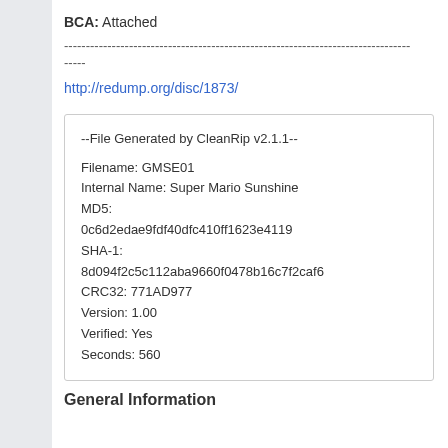BCA: Attached
--------------------------------------------------------------------------------
-----
http://redump.org/disc/1873/
--File Generated by CleanRip v2.1.1--

Filename: GMSE01
Internal Name: Super Mario Sunshine
MD5: 0c6d2edae9fdf40dfc410ff1623e4119
SHA-1: 8d094f2c5c112aba9660f0478b16c7f2caf6
CRC32: 771AD977
Version: 1.00
Verified: Yes
Seconds: 560
General Information